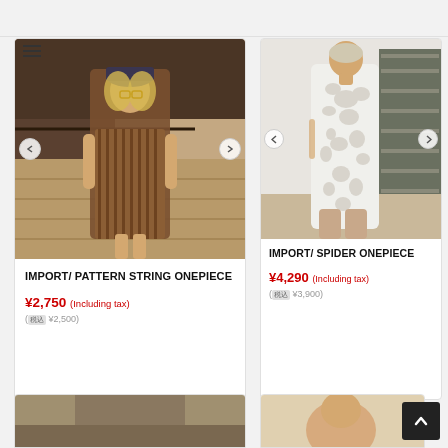[Figure (photo): Product card showing a woman wearing a brown patterned mini dress standing on stairs with hat and glasses. Navigation arrows on sides. Hamburger menu icon top left.]
IMPORT/ PATTERN STRING ONEPIECE
¥2,750 (Including tax)
(税込 ¥2,500)
[Figure (photo): Product card showing a woman wearing a white spider/giraffe pattern cutout long dress/onepiece standing indoors with industrial shelving in background. Navigation arrows on sides.]
IMPORT/ SPIDER ONEPIECE
¥4,290 (Including tax)
(税込 ¥3,900)
[Figure (photo): Partial view of a bottom product card on the left, image partially visible]
[Figure (photo): Partial view of a bottom product card on the right, image partially visible]